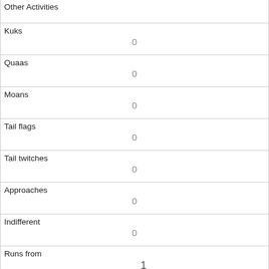| Other Activities |  |
| Kuks | 0 |
| Quaas | 0 |
| Moans | 0 |
| Tail flags | 0 |
| Tail twitches | 0 |
| Approaches | 0 |
| Indifferent | 0 |
| Runs from | 1 |
| Other Interactions | runs from (me) |
| Lat/Long |  |